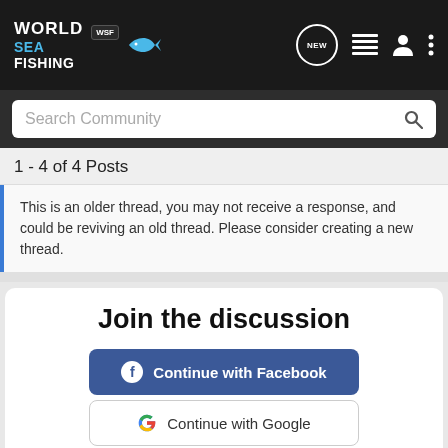World Sea Fishing — WSF — navigation bar with NEW, list, user, and menu icons
Search Community
1 - 4 of 4 Posts
This is an older thread, you may not receive a response, and could be reviving an old thread. Please consider creating a new thread.
Join the discussion
Continue with Facebook
Continue with Google
or sign up with email
[Figure (screenshot): Advertisement banner: photo of people shooting sports on left, red background with text YOUR NEW FAVORITE SPORT, EXPLORE HOW TO RESPONSIBLY PARTICIPATE IN THE SHOOTING SPORTS. START HERE! button on right.]